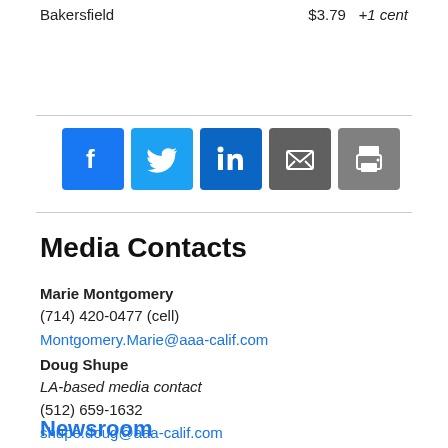Bakersfield   $3.79   +1 cent
[Figure (infographic): Social media sharing icons: Facebook, Twitter, LinkedIn, Email, Print]
Media Contacts
Marie Montgomery
(714) 420-0477 (cell)
Montgomery.Marie@aaa-calif.com
Doug Shupe
LA-based media contact
(512) 659-1632
shupe.doug@aaa-calif.com
Newsroom